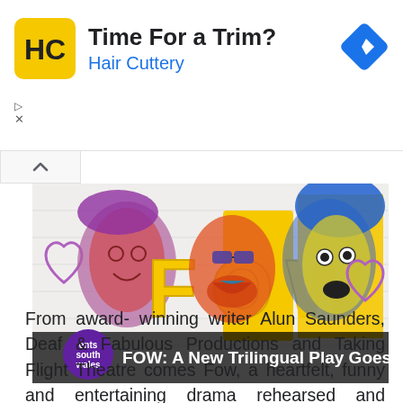[Figure (other): Hair Cuttery advertisement banner with yellow/black HC logo, title 'Time For a Trim?', subtitle 'Hair Cuttery', and blue navigation diamond icon on right]
[Figure (other): FOW: A New Trilingual Play Goes Digital - colorful illustrated banner with three stylized faces (purple, orange/red, blue/yellow) and large yellow 'FOW' letters, with 'ents south wales' logo badge]
From award- winning writer Alun Saunders, Deaf & Fabulous Productions and Taking Flight Theatre comes Fow, a heartfelt, funny and entertaining drama rehearsed and recorded especially for